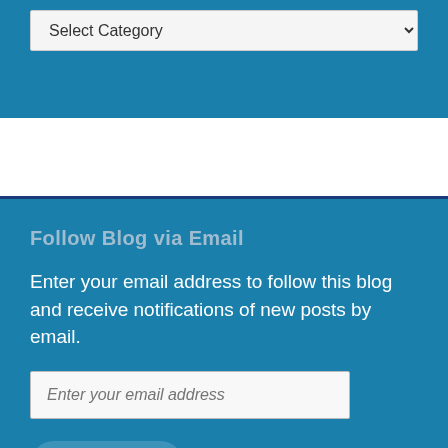Select Category
Follow Blog via Email
Enter your email address to follow this blog and receive notifications of new posts by email.
Enter your email address
Follow